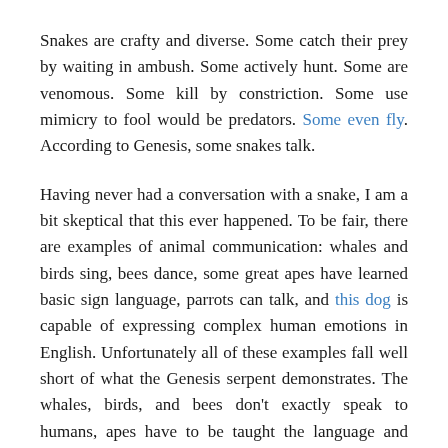Snakes are crafty and diverse. Some catch their prey by waiting in ambush. Some actively hunt. Some are venomous. Some kill by constriction. Some use mimicry to fool would be predators. Some even fly. According to Genesis, some snakes talk.
Having never had a conversation with a snake, I am a bit skeptical that this ever happened. To be fair, there are examples of animal communication: whales and birds sing, bees dance, some great apes have learned basic sign language, parrots can talk, and this dog is capable of expressing complex human emotions in English. Unfortunately all of these examples fall well short of what the Genesis serpent demonstrates. The whales, birds, and bees don’t exactly speak to humans, apes have to be taught the language and even then their ability is limited, parrots mimic human speech and haven’t proven themselves as adept conversationalists, and that dog’s